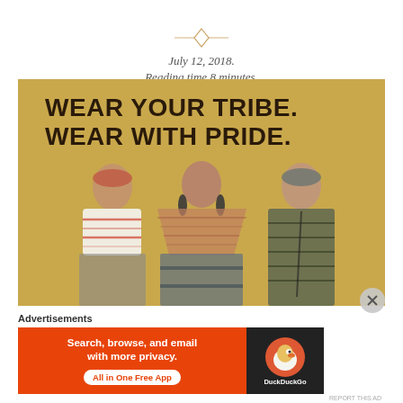July 12, 2018.
Reading time 8 minutes.
[Figure (photo): Three fashion mannequins on a warm yellow background displaying clothing. Behind them, large bold text reads: WEAR YOUR TRIBE. WEAR WITH PRIDE. Left mannequin wears a white striped top with red headband and a checkered skirt. Center mannequin wears a pink/coral striped shawl top with dangling earrings. Right mannequin wears a dark patterned sleeveless dress with headband and accessories.]
Advertisements
[Figure (other): DuckDuckGo advertisement banner: orange background on left with text 'Search, browse, and email with more privacy. All in One Free App' and a DuckDuckGo logo on dark background on the right.]